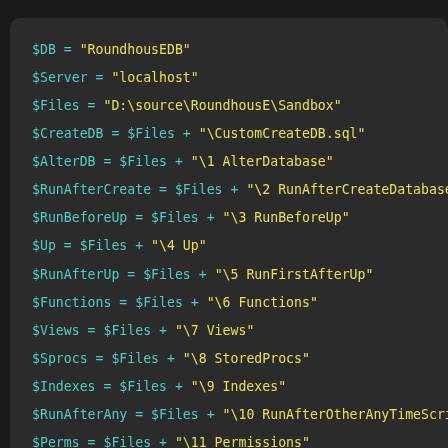[Figure (screenshot): Dark-themed code editor screenshot showing PowerShell/script variable assignments for RoundhouseE database configuration paths.]
$DB = "RoundhousEDB"
$Server = "localhost"
$Files = "D:\source\RoundhousE\Sandbox"
$CreateDB = $Files + "\CustomCreateDB.sql"
$AlterDB = $Files + "\1 AlterDatabase"
$RunAfterCreate = $Files + "\2 RunAfterCreateDatabase"
$RunBeforeUp = $Files + "\3 RunBeforeUp"
$Up = $Files + "\4 Up"
$RunAfterUp = $Files + "\5 RunFirstAfterUp"
$Functions = $Files + "\6 Functions"
$Views = $Files + "\7 Views"
$Sprocs = $Files + "\8 StoredProcs"
$Indexes = $Files + "\9 Indexes"
$RunAfterAny = $Files + "\10 RunAfterOtherAnyTimeScript
$Perms = $Files + "\11 Permissions"
$Version = $Files + "\Version\RoundhouseDBVersion